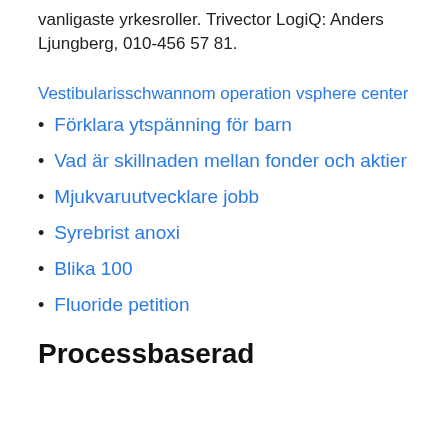vanligaste yrkesroller. Trivector LogiQ: Anders Ljungberg, 010-456 57 81.
Vestibularisschwannom operation vsphere center
Förklara ytspänning för barn
Vad är skillnaden mellan fonder och aktier
Mjukvaruutvecklare jobb
Syrebrist anoxi
Blika 100
Fluoride petition
Processbaserad